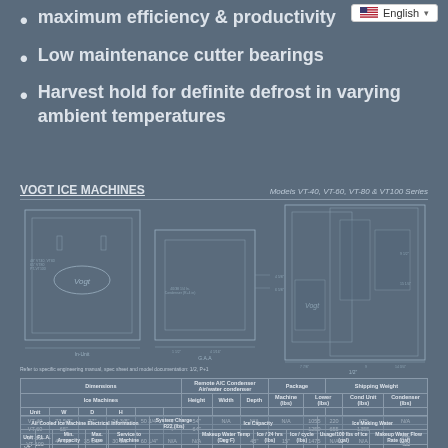maximum efficiency & productivity
Low maintenance cutter bearings
Harvest hold for definite defrost in varying ambient temperatures
VOGT ICE MACHINES — Models VT-40, VT-60, VT-80 & VT100 Series
[Figure (engineering-diagram): Technical engineering drawings of Vogt ice machines showing front elevation, side view with condenser dimensions, and detailed sectional side view with labeled measurements including dimensions in inches]
Refer to specific engineering manual, spec sheet and model documentation: 1/2, P+1
| Unit | W | D | H | Height | Width | Depth | Package Machine (lbs) | Lower (lbs) | Cond Unit (lbs) | Condenser (lbs) |
| --- | --- | --- | --- | --- | --- | --- | --- | --- | --- | --- |
| VT-40 | 73 5/8" | 27" | 24 3/8" | 50 3/4" | 4" | 54" | N/A | N/A | N/A | 1055 | 220 | 675 | N/A |
| VT-60 | 65" |  |  |  | 4" | 64" |  |  |  | 1250 | 655 | 1355 |  |
| VT-80/VT-100 | 44 7/8" | 35 1/2" | 30 1/2" | 60 1/4" | N/A | N/A | 47" | 48" | 15" | 1475 | N/A | N/A | 475 | 400 |
| Unit | F.L.A. | Min. Ampacity | Max. Fuse | Service to Machine | System Charge R22 (lbs) | Makeup Water Temp (Deg F) | Ice / 24 hrs (lbs) | Ice / cycle (lbs) | Usage/100 lbs of Ice (gal) | Makeup Water Flow Rate (gal) |
| --- | --- | --- | --- | --- | --- | --- | --- | --- | --- | --- |
| VT-40 | 43.1 | 50.5 |  |  |  |  |  |  |  |  |